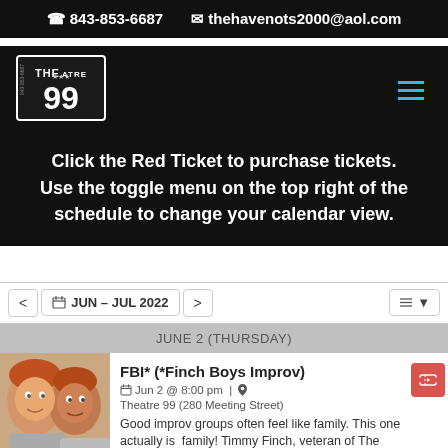843-853-6687  thehavenots2000@aol.com
[Figure (logo): Theatre 99 logo — white bordered box with THE 99 text]
Click the Red Ticket to purchase tickets. Use the toggle menu on the top right of the schedule to change your calendar view.
JUN – JUL 2022
JUNE 2 (THURSDAY)
FBI* (*Finch Boys Improv)
Jun 2 @ 8:00 pm | Theatre 99 (280 Meeting Street)
Good improv groups often feel like family. This one actually is  family! Timmy Finch, veteran of The Have